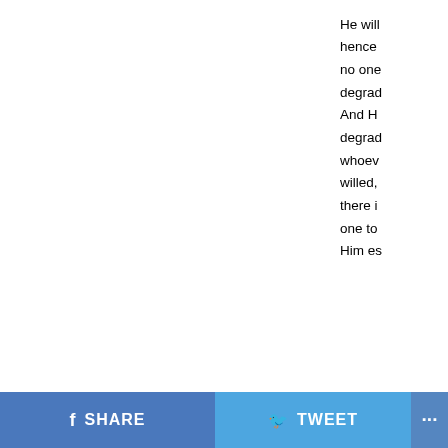He will hence no one degrad And H degrad whoev willed, there i one to Him es
| # | Arabic | Transliteration | Meaning | Description |
| --- | --- | --- | --- | --- |
| 26 | السَّمِيعُ | As-Sami' | The All-Hearer | The H The O Hears things are he His Ete |
SHARE   TWEET   ...